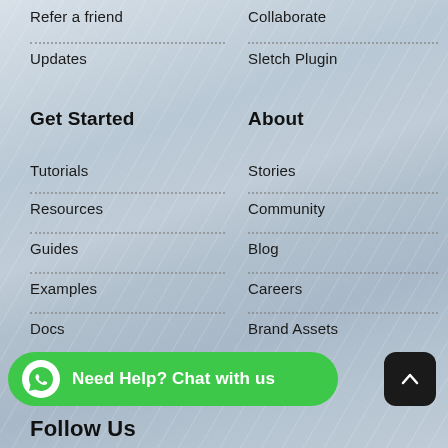Refer a friend
Collaborate
Updates
Sletch Plugin
Get Started
About
Tutorials
Stories
Resources
Community
Guides
Blog
Examples
Careers
Docs
Brand Assets
Need Help? Chat with us
Follow Us